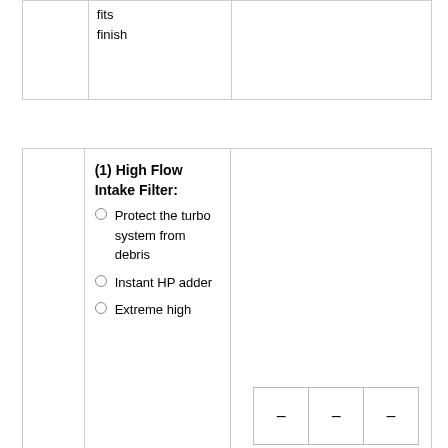|  | fits
finish |  |
|  | (1) High Flow Intake Filter:
• Protect the turbo system from debris
• Instant HP adder
• Extreme high... | — — — |